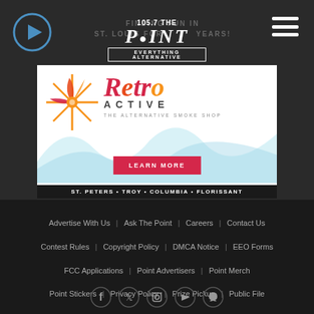[Figure (logo): 105.7 The Point radio station logo - EVERYTHING ALTERNATIVE]
FINDING FUN IN ST. LOUIS FOR 25 YEARS!
[Figure (illustration): Retro Active - The Alternative Smoke Shop advertisement banner with flame/snowflake logo, smoke imagery, LEARN MORE red button, locations: ST. PETERS · TROY · COLUMBIA · FLORISSANT]
Advertise With Us  Ask The Point  Careers  Contact Us  Contest Rules  Copyright Policy  DMCA Notice  EEO Forms  FCC Applications  Point Advertisers  Point Merch  Point Stickers  Privacy Policy  Prize Pickup  Public File  Talk Of The Town  Terms of Use